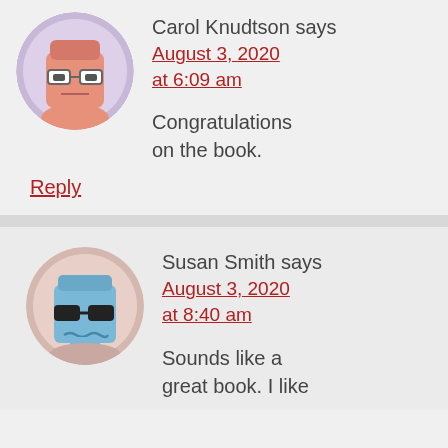Carol Knudtson says
August 3, 2020 at 6:09 am
[Figure (illustration): Cartoon avatar of a square-faced figure with glasses on a purple circular background]
Congratulations on the book.
Reply
Susan Smith says
August 3, 2020 at 8:40 am
[Figure (illustration): Cartoon avatar of a blue square-faced figure with sunglasses on a pink/beige circular background]
Sounds like a great book. I like